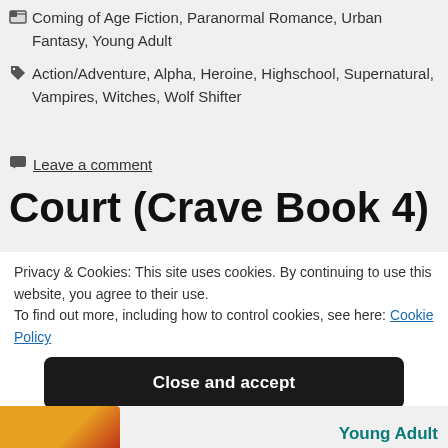Coming of Age Fiction, Paranormal Romance, Urban Fantasy, Young Adult
Action/Adventure, Alpha, Heroine, Highschool, Supernatural, Vampires, Witches, Wolf Shifter
Leave a comment
Court (Crave Book 4)
Privacy & Cookies: This site uses cookies. By continuing to use this website, you agree to their use. To find out more, including how to control cookies, see here: Cookie Policy
Close and accept
Young Adult